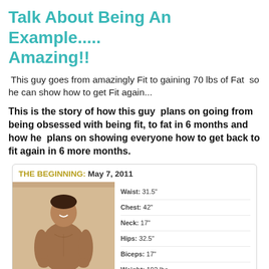Talk About Being An Example..... Amazing!!
This guy goes from amazingly Fit to gaining 70 lbs of Fat  so he can show how to get Fit again...
This is the story of how this guy  plans on going from being obsessed with being fit, to fat in 6 months and how he  plans on showing everyone how to get back to fit again in 6 more months.
[Figure (photo): Card showing 'THE BEGINNING: May 7, 2011' with a photo of a muscular man posing shirtless and stats: Waist: 31.5', Chest: 42', Neck: 17', Hips: 32.5', Biceps: 17', Weight: 192 lbs]